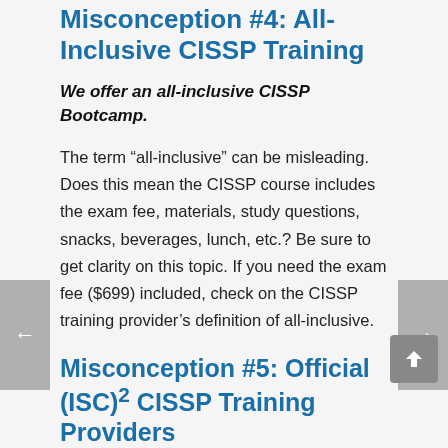Misconception #4: All-Inclusive CISSP Training
We offer an all-inclusive CISSP Bootcamp.
The term “all-inclusive” can be misleading. Does this mean the CISSP course includes the exam fee, materials, study questions, snacks, beverages, lunch, etc.? Be sure to get clarity on this topic. If you need the exam fee ($699) included, check on the CISSP training provider’s definition of all-inclusive.
Misconception #5: Official (ISC)² CISSP Training Providers